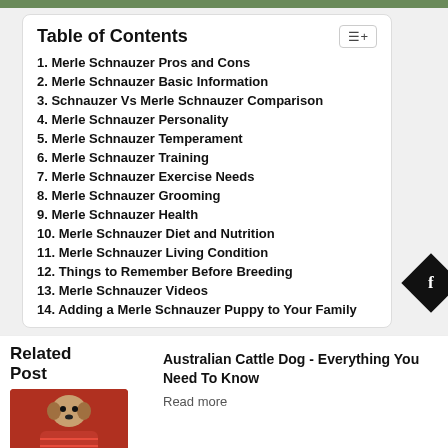Table of Contents
1. Merle Schnauzer Pros and Cons
2. Merle Schnauzer Basic Information
3. Schnauzer Vs Merle Schnauzer Comparison
4. Merle Schnauzer Personality
5. Merle Schnauzer Temperament
6. Merle Schnauzer Training
7. Merle Schnauzer Exercise Needs
8. Merle Schnauzer Grooming
9. Merle Schnauzer Health
10. Merle Schnauzer Diet and Nutrition
11. Merle Schnauzer Living Condition
12. Things to Remember Before Breeding
13. Merle Schnauzer Videos
14. Adding a Merle Schnauzer Puppy to Your Family
Related Post
Australian Cattle Dog - Everything You Need To Know
Read more